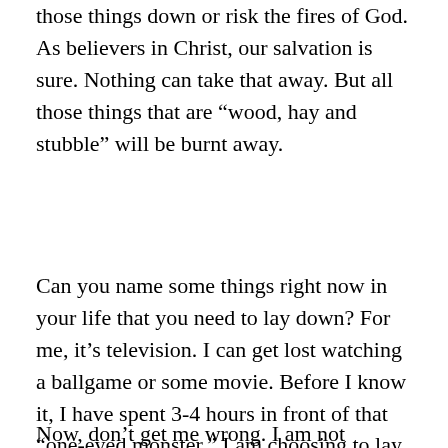those things down or risk the fires of God. As believers in Christ, our salvation is sure. Nothing can take that away. But all those things that are “wood, hay and stubble” will be burnt away.
Can you name some things right now in your life that you need to lay down? For me, it’s television. I can get lost watching a ballgame or some movie. Before I know it, I have spent 3-4 hours in front of that “one-eyed monster.” I am choosing to lay that down this year.
Now, don’t get me wrong. I am not